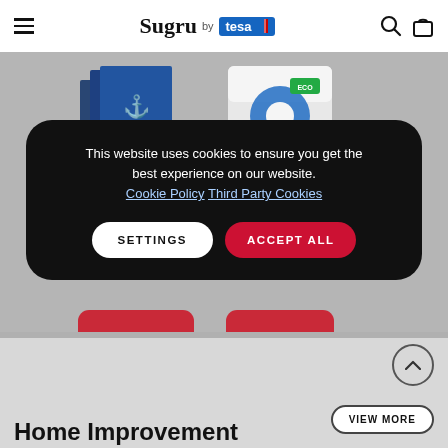Sugru by tesa
[Figure (photo): Product image: anchor-themed decorative frames/stickers by tesa]
[Figure (photo): Product image: tesa tape dispenser with ECO label]
This website uses cookies to ensure you get the best experience on our website. Cookie Policy Third Party Cookies
SETTINGS
ACCEPT ALL
Home Improvement
VIEW MORE